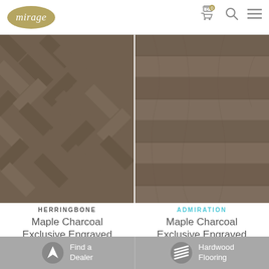mirage
[Figure (photo): Herringbone pattern hardwood flooring in charcoal/gray tones]
[Figure (photo): Admiration series hardwood flooring planks in charcoal/gray tones]
HERRINGBONE
Maple Charcoal Exclusive Engraved
ADMIRATION
Maple Charcoal Exclusive Engraved
TRY IT IN MY DÉCOR
Find a Dealer | Hardwood Flooring